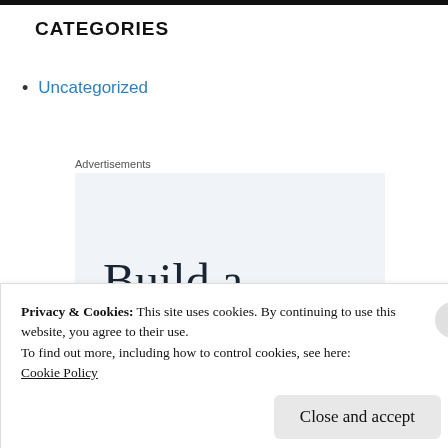CATEGORIES
Uncategorized
[Figure (screenshot): Advertisement placeholder showing 'Build a' in large serif text with partial dots/text below, on a light blue-grey background, with 'Advertisements' label above.]
Privacy & Cookies: This site uses cookies. By continuing to use this website, you agree to their use.
To find out more, including how to control cookies, see here:
Cookie Policy
Close and accept